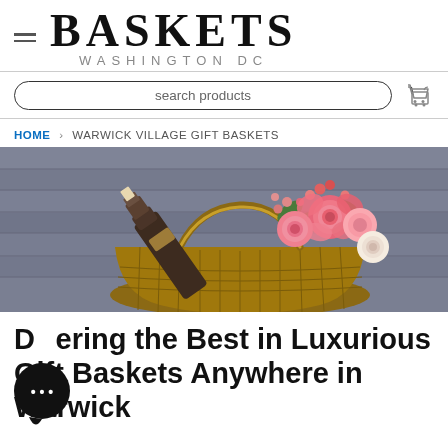BASKETS WASHINGTON DC
search products
HOME > WARWICK VILLAGE GIFT BASKETS
[Figure (photo): A wicker gift basket containing a wine bottle and pink/coral flowers (roses and berries) against a wooden plank background.]
Discovering the Best in Luxurious Gift Baskets Anywhere in Warwick